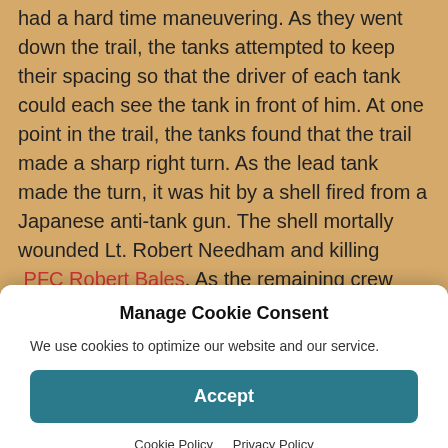had a hard time maneuvering. As they went down the trail, the tanks attempted to keep their spacing so that the driver of each tank could each see the tank in front of him. At one point in the trail, the tanks found that the trail made a sharp right turn. As the lead tank made the turn, it was hit by a shell fired from a Japanese anti-tank gun. The shell mortally wounded Lt. Robert Needham and killing PFC Robert Bales. As the remaining crew members attempted to leave the tank they were machine-gunned.
Sgt. Emil Morello's tank was the second tank in the column. As it came around the corner, his driver Pvt. Joe...
Manage Cookie Consent
We use cookies to optimize our website and our service.
Accept
Cookie Policy    Privacy Policy